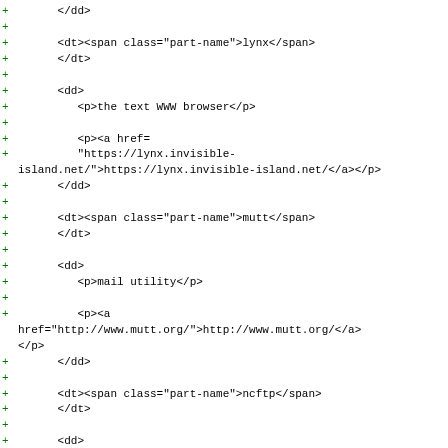+ </dd>
+ 
+ <dt><span class="part-name">lynx</span>
+ </dt>
+ 
+ <dd>
+ <p>the text WWW browser</p>
+ 
+ <p><a href=
+ "https://lynx.invisible-
island.net/">https://lynx.invisible-island.net/</a></p>
+ </dd>
+ 
+ <dt><span class="part-name">mutt</span>
+ </dt>
+ 
+ <dd>
+ <p>mail utility</p>
+ 
+ <p><a
href="http://www.mutt.org/">http://www.mutt.org/</a>
</p>
+ </dd>
+ 
+ <dt><span class="part-name">ncftp</span>
+ </dt>
+ 
+ <dd>
+ <p>file-transfer utility</p>
+ 
+ <p><a href=